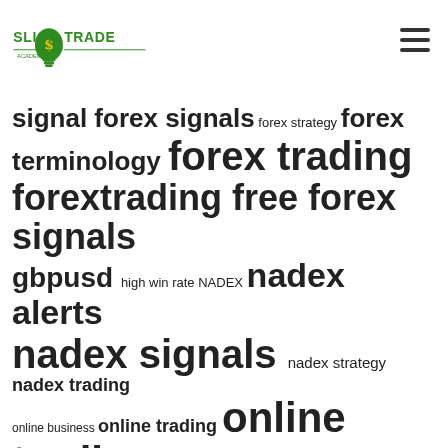SlickTrade logo and navigation
[Figure (logo): SlickTrade logo with green lightbulb containing dollar sign]
signal forex signals forex strategy forex terminology forex trading forextrading free forex signals gbpusd high win rate NADEX nadex alerts nadex signals nadex strategy nadex trading online business online trading online trading academy performance pipsqueaks pivot points pivot points indicator price action risk management signal service slicktrade slick trade technical indicators trade alerts trade analysis trading results trading signal work from home